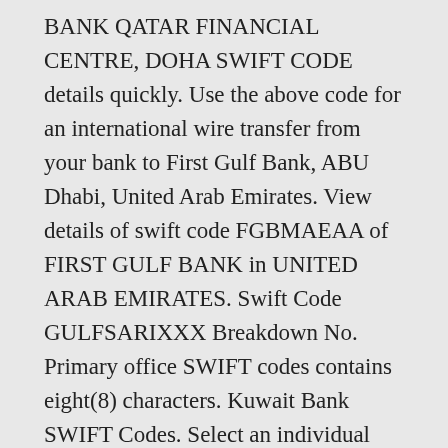BANK QATAR FINANCIAL CENTRE, DOHA SWIFT CODE details quickly. Use the above code for an international wire transfer from your bank to First Gulf Bank, ABU Dhabi, United Arab Emirates. View details of swift code FGBMAEAA of FIRST GULF BANK in UNITED ARAB EMIRATES. Swift Code GULFSARIXXX Breakdown No. Primary office SWIFT codes contains eight(8) characters. Kuwait Bank SWIFT Codes. Select an individual Branch / SWIFT code to view details of the branch / SWIFT code. -, 2 letters: ISO 3166-1 alpha-2 country code. SWIFT BIC code FGBMAEAA of bank First Gulf Bank, Abu Dhabi. Business Identifier Codes (BIC codes) for thousands of banks and financial institutions in